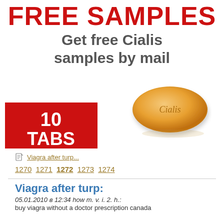FREE SAMPLES
Get free Cialis samples by mail
[Figure (illustration): Red semicircle badge with white text '10 TABS' and an orange Cialis pill tablet]
Viagra after turp...
1270 1271 1272 1273 1274
Viagra after turp:
05.01.2010 в 12:34 how m. v. i. 2. h.:
buy viagra without a doctor prescription canada